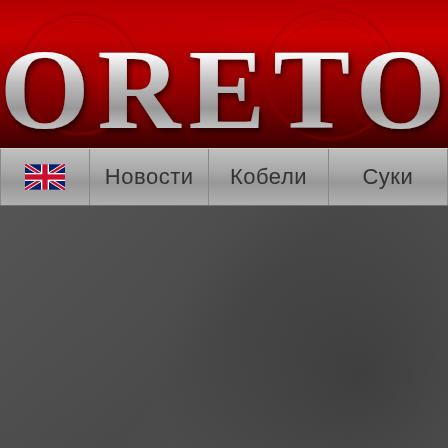[Figure (screenshot): Red header banner with large silver/chrome text reading 'ORETO M' (partially cropped), with decorative clock imagery in background]
[Figure (screenshot): Navigation bar with UK flag icon, and Russian menu items: Новости, Кобели, Суки (partially cropped)]
[Figure (screenshot): Dark gray textured main content background area]